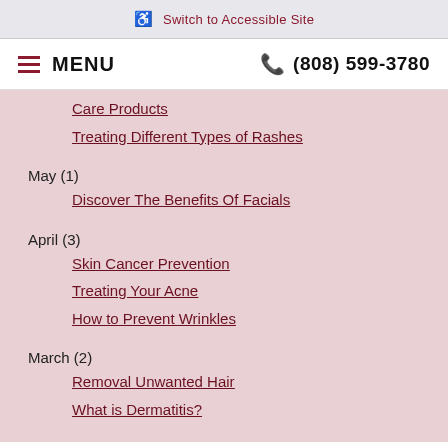Switch to Accessible Site
MENU   (808) 599-3780
Care Products
Treating Different Types of Rashes
May (1)
Discover The Benefits Of Facials
April (3)
Skin Cancer Prevention
Treating Your Acne
How to Prevent Wrinkles
March (2)
Removal Unwanted Hair
What is Dermatitis?